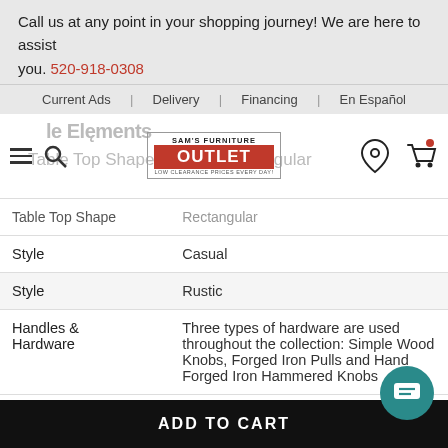Call us at any point in your shopping journey! We are here to assist you. 520-918-0308
Current Ads | Delivery | Financing | En Español
[Figure (logo): Sam's Furniture Outlet logo with red background]
| Attribute | Value |
| --- | --- |
| Table Top Shape | Rectangular |
| Style | Casual |
| Style | Rustic |
| Handles & Hardware | Three types of hardware are used throughout the collection: Simple Wood Knobs, Forged Iron Pulls and Hand Forged Iron Hammered Knobs |
Storage & Features
| Attribute | Value |
| --- | --- |
| Storage | Six working doors with glass inserts. |
ADD TO CART